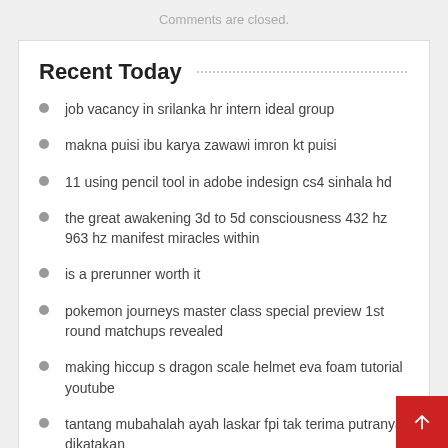Comments are closed.
Recent Today
job vacancy in srilanka hr intern ideal group
makna puisi ibu karya zawawi imron kt puisi
11 using pencil tool in adobe indesign cs4 sinhala hd
the great awakening 3d to 5d consciousness 432 hz 963 hz manifest miracles within
is a prerunner worth it
pokemon journeys master class special preview 1st round matchups revealed
making hiccup s dragon scale helmet eva foam tutorial youtube
tantang mubahalah ayah laskar fpi tak terima putranya dikatakan
the blue train south africa review
penremakenya oke ne speech modular